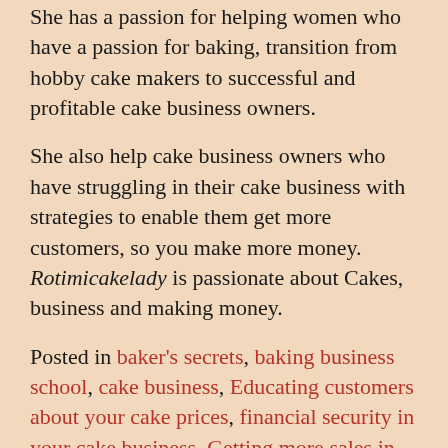She has a passion for helping women who have a passion for baking, transition from hobby cake makers to successful and profitable cake business owners.
She also help cake business owners who have struggling in their cake business with strategies to enable them get more customers, so you make more money. Rotimicakelady is passionate about Cakes, business and making money.
Posted in baker's secrets, baking business school, cake business, Educating customers about your cake prices, financial security in your cake business, Getting more sales in your Cake Business, Here is why you haven't achieved your dreams?, how much money will i make in my cake business, How to achieve your Baking Goals in 2017, How to have a profitable cake business, How to make money selling cakes, how to price your cakes for profit, How to start a cake business, is it possible to make money selling cakes,